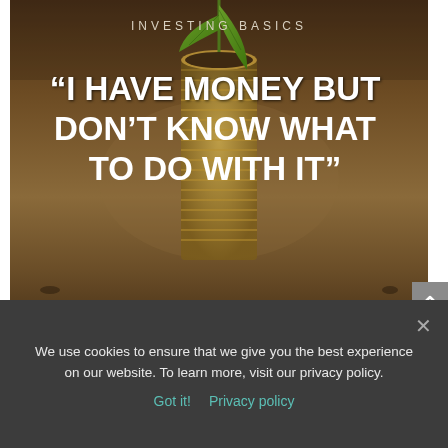[Figure (photo): A stack of gold coins with a green plant seedling growing from the top, set against a dark soil background. Text overlaid reads INVESTING BASICS at top, a large quote in white bold text, and debbiesassen.com at the bottom in italic script.]
INVESTING BASICS
"I HAVE MONEY BUT DON'T KNOW WHAT TO DO WITH IT"
debbiesassen.com
We use cookies to ensure that we give you the best experience on our website. To learn more, visit our privacy policy.
Got it!  Privacy policy